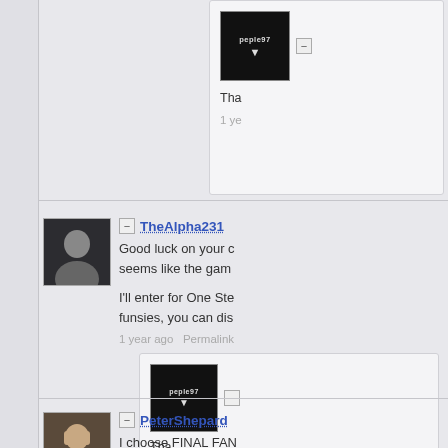[Figure (screenshot): Screenshot of a comment thread on a website. Shows partial comments from users 'pepe97' (with black avatar), 'TheAlpha231' (with dark avatar), and 'PeterShepard' (with man avatar). Comments are partially cut off on the right side. The left portion of the page shows an empty gray panel. The right portion shows nested comment replies with collapse buttons and dotted-underline username links, timestamps '1 year ago' and 'Permalink' links.]